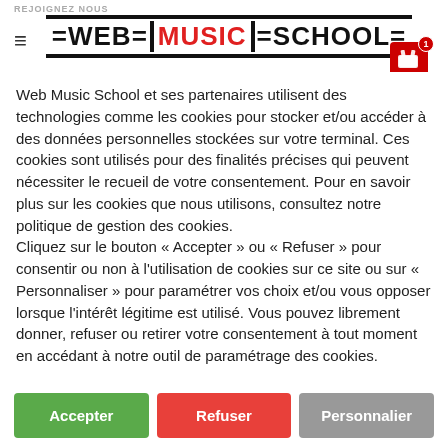REJOIGNEZ NOUS | Web Music School logo | Cart (1 item)
Web Music School et ses partenaires utilisent des technologies comme les cookies pour stocker et/ou accéder à des données personnelles stockées sur votre terminal. Ces cookies sont utilisés pour des finalités précises qui peuvent nécessiter le recueil de votre consentement. Pour en savoir plus sur les cookies que nous utilisons, consultez notre politique de gestion des cookies.
Cliquez sur le bouton « Accepter » ou « Refuser » pour consentir ou non à l'utilisation de cookies sur ce site ou sur « Personnaliser » pour paramétrer vos choix et/ou vous opposer lorsque l'intérêt légitime est utilisé. Vous pouvez librement donner, refuser ou retirer votre consentement à tout moment en accédant à notre outil de paramétrage des cookies.
Accepter | Refuser | Personnalier